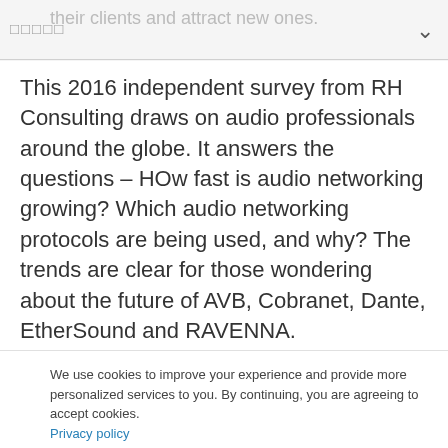□□□□□   their clients and attract new ones.
This 2016 independent survey from RH Consulting draws on audio professionals around the globe. It answers the questions – HOw fast is audio networking growing? Which audio networking protocols are being used, and why? The trends are clear for those wondering about the future of AVB, Cobranet, Dante, EtherSound and RAVENNA.
We use cookies to improve your experience and provide more personalized services to you. By continuing, you are agreeing to accept cookies. Privacy policy
Accept